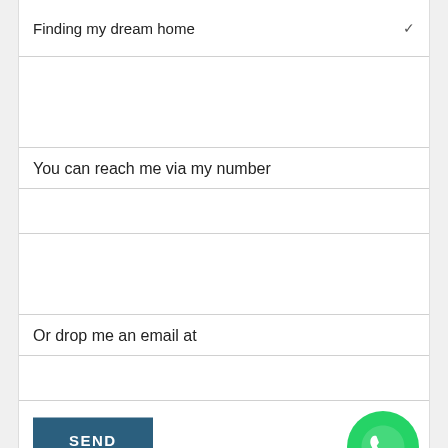Finding my dream home
You can reach me via my number
Or drop me an email at
[Figure (illustration): Green circular WhatsApp icon button in the bottom right corner]
SEND